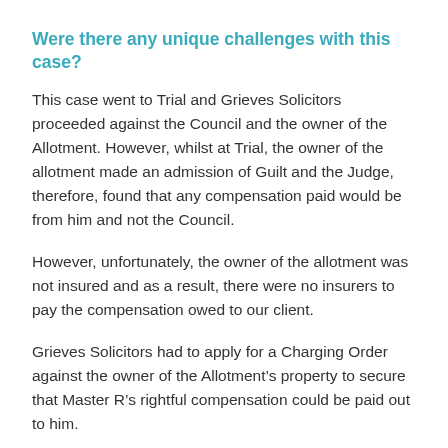Were there any unique challenges with this case?
This case went to Trial and Grieves Solicitors proceeded against the Council and the owner of the Allotment. However, whilst at Trial, the owner of the allotment made an admission of Guilt and the Judge, therefore, found that any compensation paid would be from him and not the Council.
However, unfortunately, the owner of the allotment was not insured and as a result, there were no insurers to pay the compensation owed to our client.
Grieves Solicitors had to apply for a Charging Order against the owner of the Allotment’s property to secure that Master R’s rightful compensation could be paid out to him.